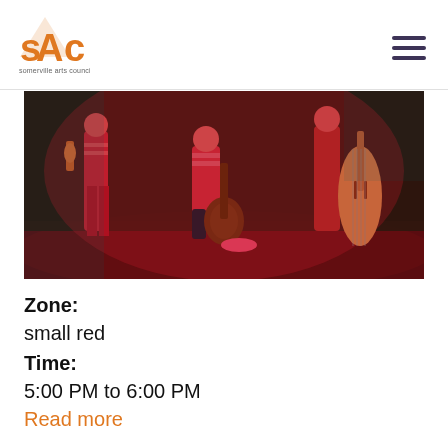[Figure (logo): Somerville Arts Council logo — orange stylized letters SAC with triangle/mountain shape, and text 'somerville arts council' below]
[Figure (photo): Three musicians standing outdoors with instruments (violin, guitar, double bass) bathed in red/pink dramatic lighting against dark foliage background]
Zone: small red
Time: 5:00 PM to 6:00 PM
Read more